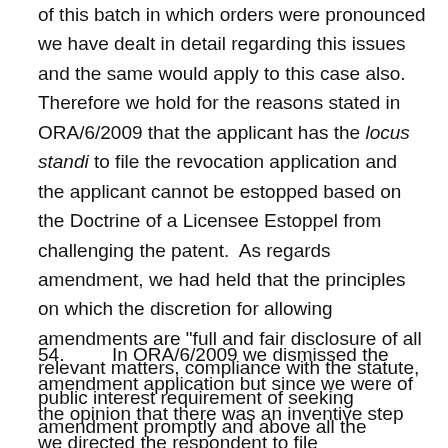of this batch in which orders were pronounced we have dealt in detail regarding this issues and the same would apply to this case also. Therefore we hold for the reasons stated in ORA/6/2009 that the applicant has the locus standi to file the revocation application and the applicant cannot be estopped based on the Doctrine of a Licensee Estoppel from challenging the patent.  As regards amendment, we had held that the principles on which the discretion for allowing amendments are "full and fair disclosure of all relevant matters, compliance with the statute, public interest requirement of seeking amendment promptly and above all the conduct."  In ORA/6/2009, we found that the respondent failed on almost all counts.
54.        In ORA/6/2009 we dismissed the amendment application but since we were of the opinion that there was an inventive step we directed the respondent to file